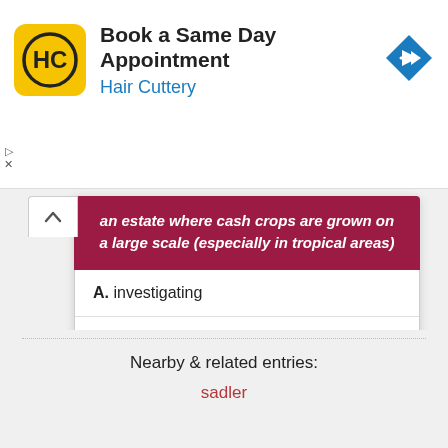[Figure (logo): Hair Cuttery advertisement banner with HC logo, text 'Book a Same Day Appointment' and 'Hair Cuttery', and a blue navigation arrow icon]
an estate where cash crops are grown on a large scale (especially in tropical areas)
A. investigating
B. rogue
C. plantation
D. drought
Nearby & related entries:
sadler